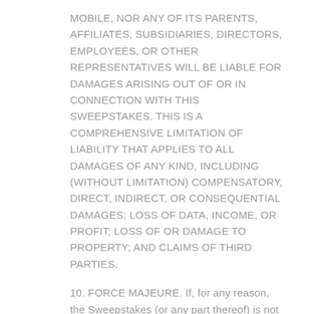MOBILE, NOR ANY OF ITS PARENTS, AFFILIATES, SUBSIDIARIES, DIRECTORS, EMPLOYEES, OR OTHER REPRESENTATIVES WILL BE LIABLE FOR DAMAGES ARISING OUT OF OR IN CONNECTION WITH THIS SWEEPSTAKES. THIS IS A COMPREHENSIVE LIMITATION OF LIABILITY THAT APPLIES TO ALL DAMAGES OF ANY KIND, INCLUDING (WITHOUT LIMITATION) COMPENSATORY, DIRECT, INDIRECT, OR CONSEQUENTIAL DAMAGES; LOSS OF DATA, INCOME, OR PROFIT; LOSS OF OR DAMAGE TO PROPERTY; AND CLAIMS OF THIRD PARTIES.
10. FORCE MAJEURE. If, for any reason, the Sweepstakes (or any part thereof) is not capable of running as planned by reason of computer virus, bug, system malfunction, tampering, unauthorized intervention, fraud, technical failures, fire, flood, earthquake, storm, or other natural cataclysm, pandemic, riot, strike, terrorist activity, civil commotion, governmental regulation, or any other causes beyond the control of Sponsor which, in its sole opinion, corrupts or affects the administration,